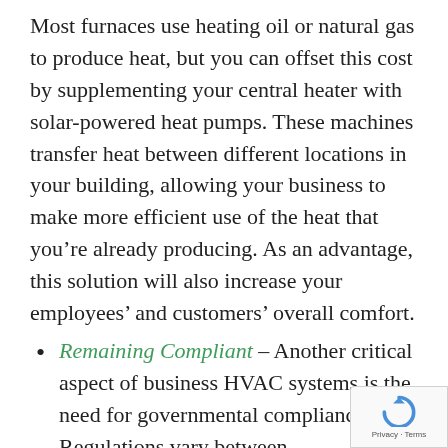Most furnaces use heating oil or natural gas to produce heat, but you can offset this cost by supplementing your central heater with solar-powered heat pumps. These machines transfer heat between different locations in your building, allowing your business to make more efficient use of the heat that you’re already producing. As an advantage, this solution will also increase your employees’ and customers’ overall comfort.
Remaining Compliant – Another critical aspect of business HVAC systems is the need for governmental compliance. Regulations vary between municipalities, but EPA regulations affect every business within the United States. As technology